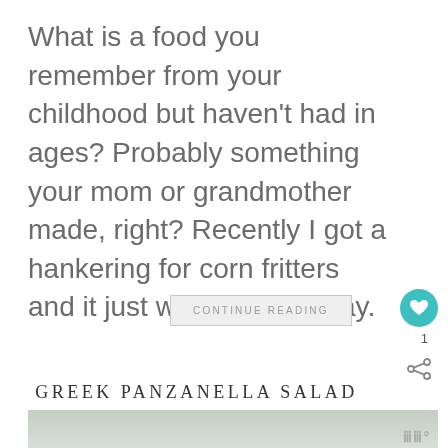What is a food you remember from your childhood but haven't had in ages? Probably something your mom or grandmother made, right? Recently I got a hankering for corn fritters and it just wouldn't go away.
CONTINUE READING
GREEK PANZANELLA SALAD
[Figure (photo): Partial view of a food photo, gray-green toned, with a small watermark logo in the lower right corner]